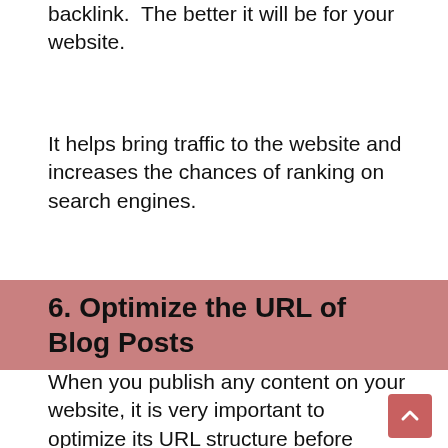backlink.  The better it will be for your website.
It helps bring traffic to the website and increases the chances of ranking on search engines.
6. Optimize the URL of Blog Posts
When you publish any content on your website, it is very important to optimize its URL structure before publishing it because if the URL is SEO friendly, the search engine will easily understand it, which will help in the ranking.